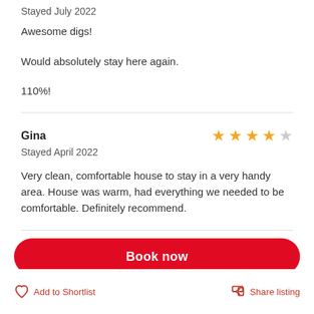Stayed July 2022
Awesome digs!
Would absolutely stay here again.
110%!
Gina
Stayed April 2022
Very clean, comfortable house to stay in a very handy area. House was warm, had everything we needed to be comfortable. Definitely recommend.
Mihi
Absolutely amazing house! Would stay again
Book now
Add to Shortlist
Share listing